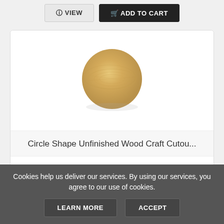[Figure (other): VIEW and ADD TO CART buttons at top of product listing page]
[Figure (photo): Circular unfinished wood craft cutout, light tan/beige wood grain, round shape on white background]
Circle Shape Unfinished Wood Craft Cutou...
$0.99
Cookies help us deliver our services. By using our services, you agree to our use of cookies.
LEARN MORE
ACCEPT